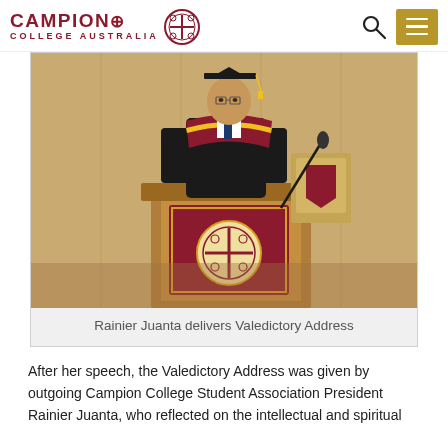Campion College Australia
[Figure (photo): Rainier Juanta in academic regalia (graduation cap and gown with red and gold hood) standing at a lectern with a Campion College Australia flag/banner draped in front, delivering a speech. Microphone visible to the right. Wooden panel background.]
Rainier Juanta delivers Valedictory Address
After her speech, the Valedictory Address was given by outgoing Campion College Student Association President Rainier Juanta, who reflected on the intellectual and spiritual